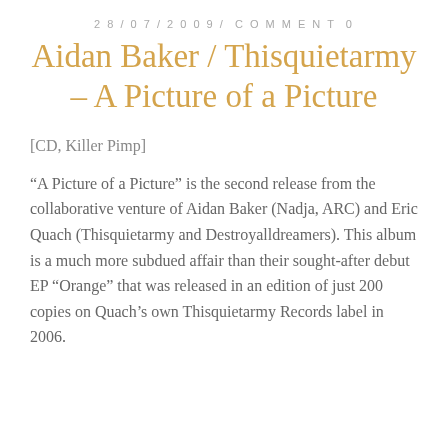28/07/2009/ COMMENT 0
Aidan Baker / Thisquietarmy – A Picture of a Picture
[CD, Killer Pimp]
“A Picture of a Picture” is the second release from the collaborative venture of Aidan Baker (Nadja, ARC) and Eric Quach (Thisquietarmy and Destroyalldreamers). This album is a much more subdued affair than their sought-after debut EP “Orange” that was released in an edition of just 200 copies on Quach’s own Thisquietarmy Records label in 2006.